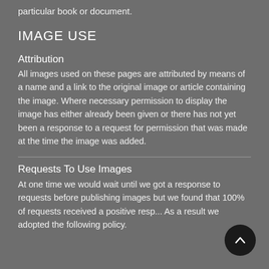particular book or document.
IMAGE USE
Attribution
All images used on these pages are attributed by means of a name and a link to the original image or article containing the image. Where necessary permission to display the image has either already been given or there has not yet been a response to a request for permission that was made at the time the image was added.
Requests To Use Images
At one time we would wait until we got a response to requests before publishing images but we found that 100% of requests received a positive response. As a result we adopted the following policy.